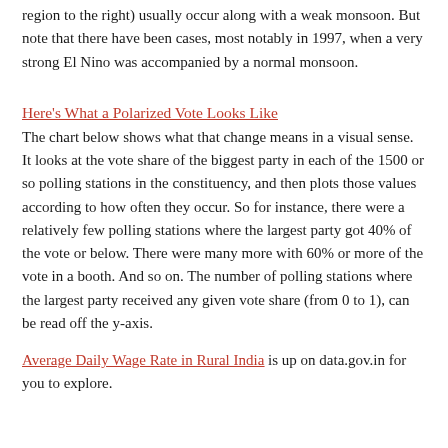region to the right) usually occur along with a weak monsoon. But note that there have been cases, most notably in 1997, when a very strong El Nino was accompanied by a normal monsoon.
Here's What a Polarized Vote Looks Like
The chart below shows what that change means in a visual sense. It looks at the vote share of the biggest party in each of the 1500 or so polling stations in the constituency, and then plots those values according to how often they occur. So for instance, there were a relatively few polling stations where the largest party got 40% of the vote or below. There were many more with 60% or more of the vote in a booth. And so on. The number of polling stations where the largest party received any given vote share (from 0 to 1), can be read off the y-axis.
Average Daily Wage Rate in Rural India is up on data.gov.in for you to explore.